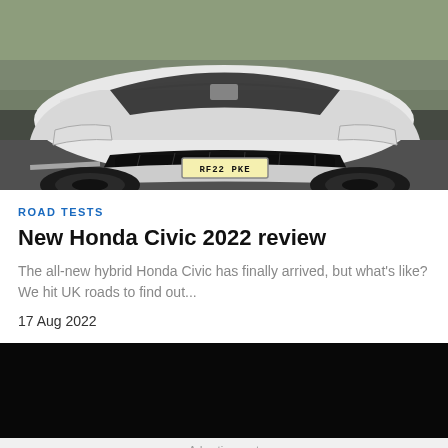[Figure (photo): Front view of a white Honda Civic 2022 with registration plate RF22 PKE, photographed on a road with motion blur background]
ROAD TESTS
New Honda Civic 2022 review
The all-new hybrid Honda Civic has finally arrived, but what's like? We hit UK roads to find out...
17 Aug 2022
[Figure (photo): Black banner/video area]
Advertisement
[Figure (illustration): Hefty brand advertisement with orange background and cartoon character]